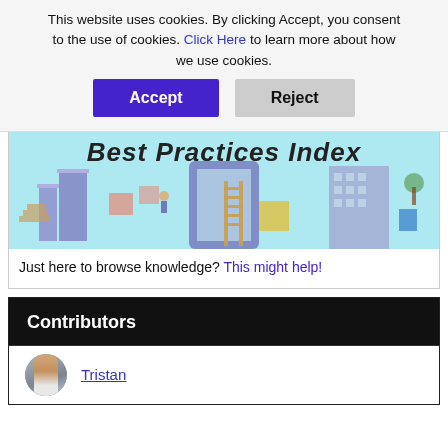This website uses cookies. By clicking Accept, you consent to the use of cookies. Click Here to learn more about how we use cookies.
Accept
Reject
[Figure (illustration): Isometric illustration of city buildings and objects with text 'Best Practices Index' partially visible at top]
Just here to browse knowledge? This might help!
Contributors
Tristan